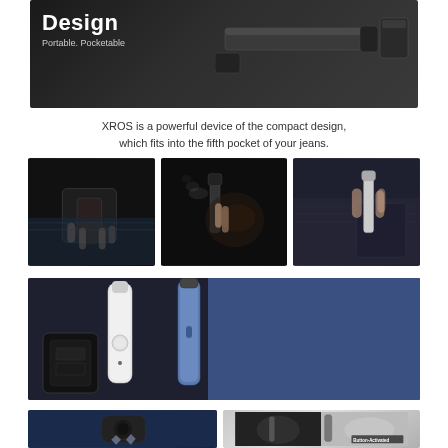[Figure (photo): Dark background banner showing sleek vape/pod device components with text overlay: 'Design' and 'Portable. Pocketable']
XROS is a powerful device of the compact design, which fits into the fifth pocket of your jeans.
[Figure (photo): Three side-by-side photos: hand holding pod device in pocket, person using/vaping a device, hand inserting device into jeans pocket]
[Figure (photo): Dark blue/grey banner showing multiple vape pod devices including white and blue models, with text overlay: 'Ease of Use' and 'User-friendly. Intelligence']
[Figure (photo): Bottom row showing two images: left - dark blue image of pod coil/component, right - split image showing person using device and 'Button-Activated' label]